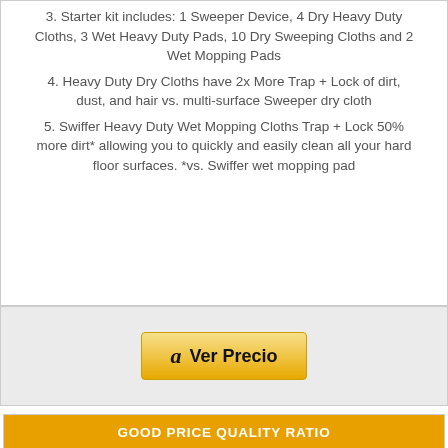3. Starter kit includes: 1 Sweeper Device, 4 Dry Heavy Duty Cloths, 3 Wet Heavy Duty Pads, 10 Dry Sweeping Cloths and 2 Wet Mopping Pads
4. Heavy Duty Dry Cloths have 2x More Trap + Lock of dirt, dust, and hair vs. multi-surface Sweeper dry cloth
5. Swiffer Heavy Duty Wet Mopping Cloths Trap + Lock 50% more dirt* allowing you to quickly and easily clean all your hard floor surfaces. *vs. Swiffer wet mopping pad
[Figure (other): Amazon 'Ver Precio' button with Amazon logo]
GOOD PRICE QUALITY RATIO
ThisWorx for
[Figure (photo): Product image of ThisWorx item, partially visible]